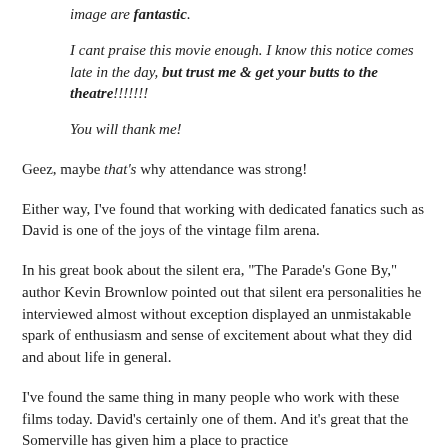image are fantastic.
I cant praise this movie enough. I know this notice comes late in the day, but trust me & get your butts to the theatre!!!!!!!
You will thank me!
Geez, maybe that's why attendance was strong!
Either way, I've found that working with dedicated fanatics such as David is one of the joys of the vintage film arena.
In his great book about the silent era, "The Parade's Gone By," author Kevin Brownlow pointed out that silent era personalities he interviewed almost without exception displayed an unmistakable spark of enthusiasm and sense of excitement about what they did and about life in general.
I've found the same thing in many people who work with these films today. David's certainly one of them. And it's great that the Somerville has given him a place to practice